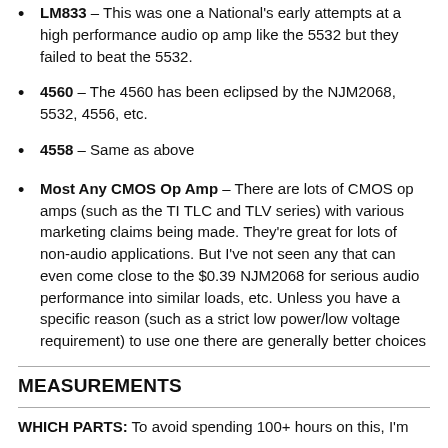LM833 – This was one a National's early attempts at a high performance audio op amp like the 5532 but they failed to beat the 5532.
4560 – The 4560 has been eclipsed by the NJM2068, 5532, 4556, etc.
4558 – Same as above
Most Any CMOS Op Amp – There are lots of CMOS op amps (such as the TI TLC and TLV series) with various marketing claims being made. They're great for lots of non-audio applications. But I've not seen any that can even come close to the $0.39 NJM2068 for serious audio performance into similar loads, etc. Unless you have a specific reason (such as a strict low power/low voltage requirement) to use one there are generally better choices
MEASUREMENTS
WHICH PARTS: To avoid spending 100+ hours on this, I'm